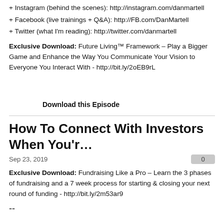+ Instagram (behind the scenes): http://instagram.com/danmartell
+ Facebook (live trainings + Q&A): http://FB.com/DanMartell
+ Twitter (what I'm reading): http://twitter.com/danmartell
Exclusive Download: Future Living™ Framework – Play a Bigger Game and Enhance the Way You Communicate Your Vision to Everyone You Interact With - http://bit.ly/2oEB9rL
Download this Episode
How To Connect With Investors When You'r...
Sep 23, 2019
Exclusive Download: Fundraising Like a Pro – Learn the 3 phases of fundraising and a 7 week process for starting & closing your next round of funding - http://bit.ly/2m53ar9